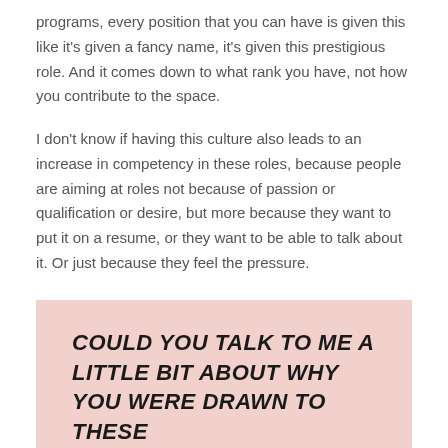programs, every position that you can have is given this like it's given a fancy name, it's given this prestigious role. And it comes down to what rank you have, not how you contribute to the space.
I don't know if having this culture also leads to an increase in competency in these roles, because people are aiming at roles not because of passion or qualification or desire, but more because they want to put it on a resume, or they want to be able to talk about it. Or just because they feel the pressure.
COULD YOU TALK TO ME A LITTLE BIT ABOUT WHY YOU WERE DRAWN TO THESE